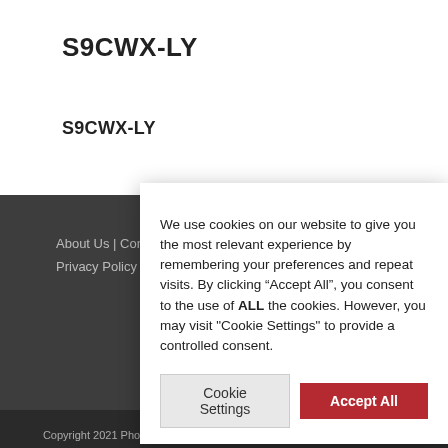S9CWX-LY
S9CWX-LY
We use cookies on our website to give you the most relevant experience by remembering your preferences and repeat visits. By clicking “Accept All”, you consent to the use of ALL the cookies. However, you may visit "Cookie Settings" to provide a controlled consent.
Cookie Settings   Accept All
About Us | Conta... | Privacy Policy
Copyright 2021 Phoenix LTC and the Bergmann Group, Phoenix, Arizona |